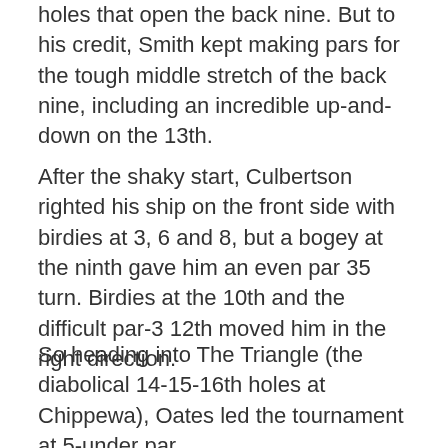holes that open the back nine. But to his credit, Smith kept making pars for the tough middle stretch of the back nine, including an incredible up-and-down on the 13th.
After the shaky start, Culbertson righted his ship on the front side with birdies at 3, 6 and 8, but a bogey at the ninth gave him an even par 35 turn. Birdies at the 10th and the difficult par-3 12th moved him in the right direction.
So heading into The Triangle (the diabolical 14-15-16th holes at Chippewa), Oates led the tournament at 5-under par,